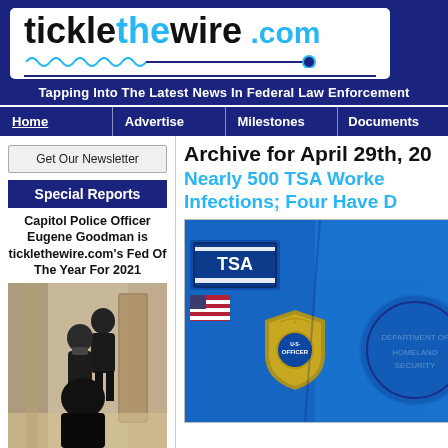[Figure (logo): ticklethewire.com logo with wavy underline on dark blue background]
Tapping Into The Latest News In Federal Law Enforcement
Home | Advertise | Milestones | Documents
Get Our Newsletter
Special Reports
Capitol Police Officer Eugene Goodman is ticklethewire.com's Fed Of The Year For 2021
[Figure (photo): Capitol police officer Eugene Goodman guiding people in a hallway]
Archive for April 29th, 20
Nearly 500 TSA Workers Infections; Four Have D
[Figure (photo): TSA officer uniform with badge and TSA shoulder patch on blue shirt]